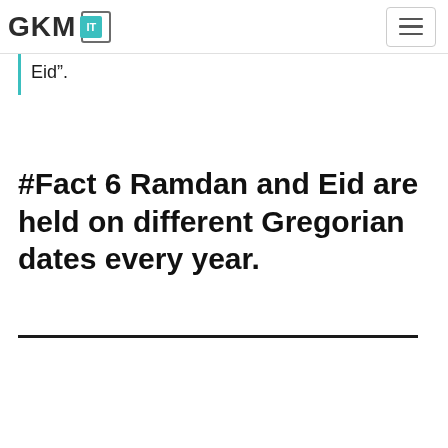GKM IT
Eid”.
#Fact 6 Ramdan and Eid are held on different Gregorian dates every year.